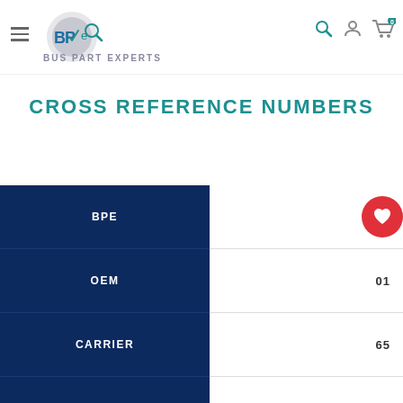BPE Bus Part Experts navigation header
CROSS REFERENCE NUMBERS
|  |  |
| --- | --- |
| BPE |  |
| OEM | 01 |
| CARRIER | 65 |
| AIRSOURCE/MEI |  |